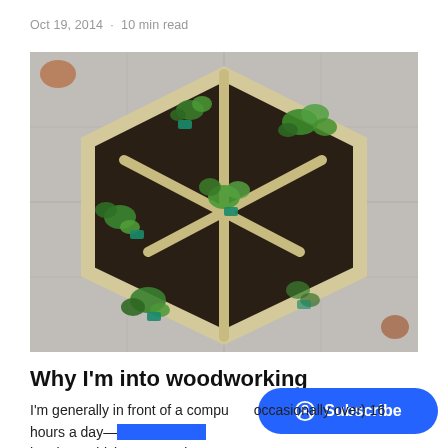Oct 19, 2014 · 10 min read
[Figure (photo): Overhead view of a hexagonal wooden planter box divided into sections by diagonal wooden slats, filled with dark soil and small herb seedlings with plant labels, placed on a stone patio.]
Why I'm into woodworking
I'm generally in front of a computer (occasionally over) 16 hours a day—which recently has been driving me mad.